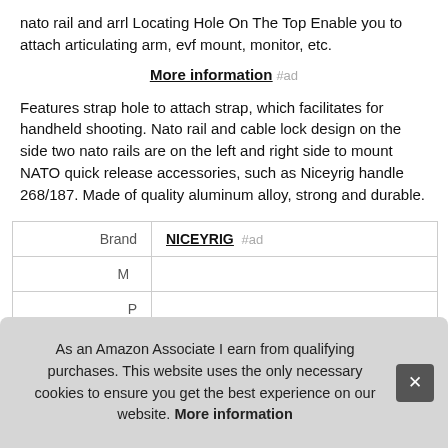nato rail and arrl Locating Hole On The Top Enable you to attach articulating arm, evf mount, monitor, etc.
More information #ad
Features strap hole to attach strap, which facilitates for handheld shooting. Nato rail and cable lock design on the side two nato rails are on the left and right side to mount NATO quick release accessories, such as Niceyrig handle 268/187. Made of quality aluminum alloy, strong and durable.
| Brand | NICEYRIG #ad |
| --- | --- |
| Ma |  |
| P |  |
As an Amazon Associate I earn from qualifying purchases. This website uses the only necessary cookies to ensure you get the best experience on our website. More information